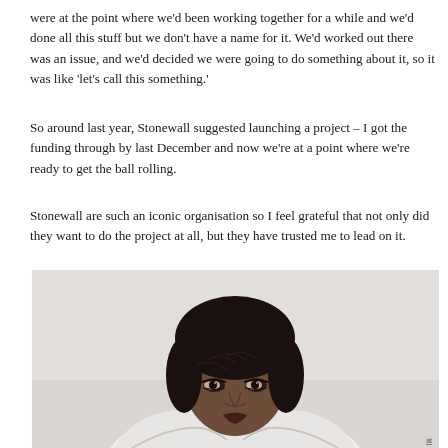were at the point where we'd been working together for a while and we'd done all this stuff but we don't have a name for it. We'd worked out there was an issue, and we'd decided we were going to do something about it, so it was like 'let's call this something.'
So around last year, Stonewall suggested launching a project – I got the funding through by last December and now we're at a point where we're ready to get the ball rolling.
Stonewall are such an iconic organisation so I feel grateful that not only did they want to do the project at all, but they have trusted me to lead on it.
[Figure (photo): Portrait photo of a Black woman with dark hair and bangs, wearing a white outfit, photographed against a light grey/white background. The subject is visible from approximately the shoulders up, looking directly at the camera.]